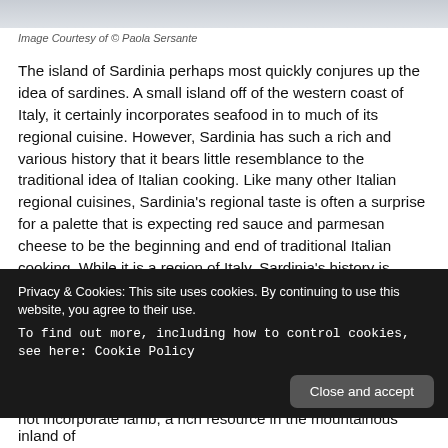[Figure (photo): Top portion of a food/travel photo, partially cropped at the top of the page]
Image Courtesy of © Paola Sersante
The island of Sardinia perhaps most quickly conjures up the idea of sardines. A small island off of the western coast of Italy, it certainly incorporates seafood in to much of its regional cuisine. However, Sardinia has such a rich and various history that it bears little resemblance to the traditional idea of Italian cooking. Like many other Italian regional cuisines, Sardinia's regional taste is often a surprise for a palette that is expecting red sauce and parmesan cheese to be the beginning and end of traditional Italian cooking. While it is a region of Italy, Sardinia's history is shared with explorers of many European nations, such as Greece, France, and S... c...
W... p...
not incorporate lamb, a rich resource in the mountainous inland of
[Figure (screenshot): Cookie consent overlay banner with dark background. Text reads: 'Privacy & Cookies: This site uses cookies. By continuing to use this website, you agree to their use. To find out more, including how to control cookies, see here: Cookie Policy'. A 'Close and accept' button is shown in the bottom right.]